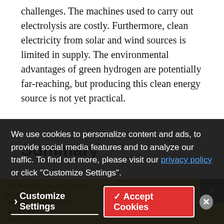challenges. The machines used to carry out electrolysis are costly. Furthermore, clean electricity from solar and wind sources is limited in supply. The environmental advantages of green hydrogen are potentially far-reaching, but producing this clean energy source is not yet practical.
Summary
Although hydrogen may play a significant role in our clean energy future, it still has a long way to go. To reach its zero-emissions potential, there will need to be a gradual shift from gray hydrogen to green hydrogen in the years ahead. How long that will take and its overall feasibility is still to be determined.
We use cookies to personalize content and ads, to provide social media features and to analyze our traffic. To find out more, please visit our privacy policy or click "Customize Settings".